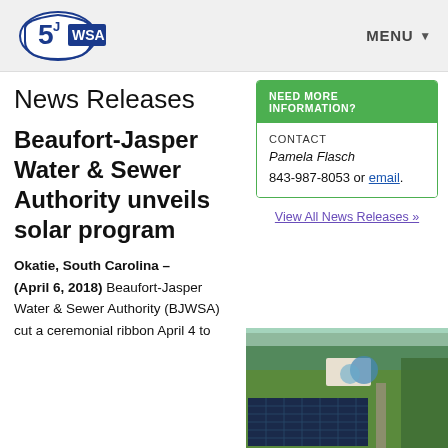BJWSA logo | MENU
News Releases
Beaufort-Jasper Water & Sewer Authority unveils solar program
NEED MORE INFORMATION?
CONTACT
Pamela Flasch
843-987-8053 or email.
View All News Releases »
Okatie, South Carolina – (April 6, 2018) Beaufort-Jasper Water & Sewer Authority (BJWSA) cut a ceremonial ribbon April 4 to
[Figure (photo): Aerial view of BJWSA solar panel installation and water treatment facility surrounded by green landscape]